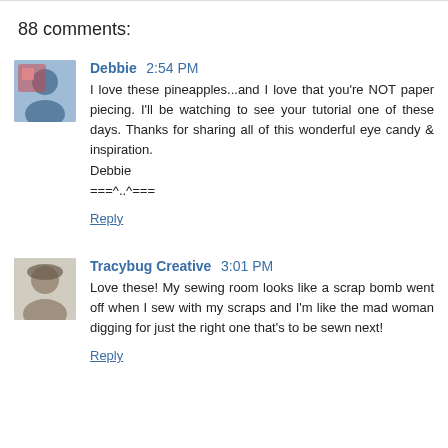88 comments:
Debbie 2:54 PM
I love these pineapples...and I love that you're NOT paper piecing. I'll be watching to see your tutorial one of these days. Thanks for sharing all of this wonderful eye candy & inspiration.
Debbie
===^..^===
Reply
Tracybug Creative 3:01 PM
Love these! My sewing room looks like a scrap bomb went off when I sew with my scraps and I'm like the mad woman digging for just the right one that's to be sewn next!
Reply